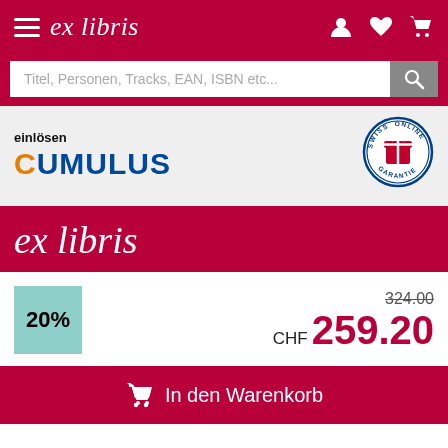ex libris
Titel, Personen, Tracks, EAN, ISBN etc...
einlösen CUMULUS
[Figure (logo): Swiss Online Garantie circular badge with red gift box icon]
Feedback
ex libris
20%
324.00
CHF 259.20
In den Warenkorb